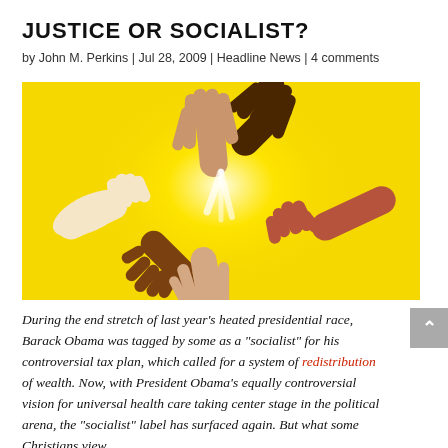JUSTICE OR SOCIALIST?
by John M. Perkins | Jul 28, 2009 | Headline News | 4 comments
[Figure (illustration): Illustration of multiple hands of different skin tones reaching toward a central glowing yellow light, symbolizing unity and diversity.]
During the end stretch of last year's heated presidential race, Barack Obama was tagged by some as a "socialist" for his controversial tax plan, which called for a system of redistribution of wealth. Now, with President Obama's equally controversial vision for universal health care taking center stage in the political arena, the "socialist" label has surfaced again. But what some Christians view